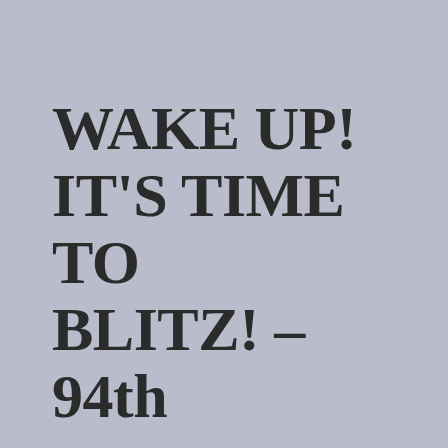WAKE UP! IT'S TIME TO BLITZ! – 94th Academy Award